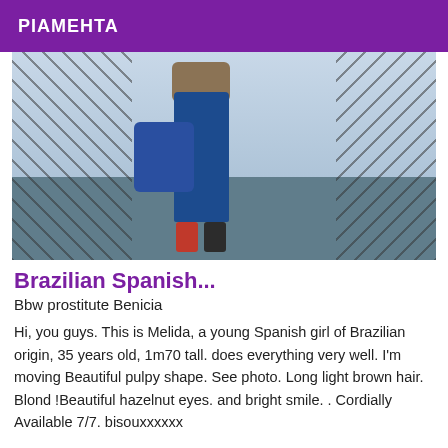PIAMEHTA
[Figure (photo): A woman wearing jeans and carrying a blue bag photographed near the Eiffel Tower in Paris, showing her lower body with red-soled shoes.]
Brazilian Spanish...
Bbw prostitute Benicia
Hi, you guys. This is Melida, a young Spanish girl of Brazilian origin, 35 years old, 1m70 tall. does everything very well. I'm moving Beautiful pulpy shape. See photo. Long light brown hair. Blond !Beautiful hazelnut eyes. and bright smile. . Cordially Available 7/7. bisouxxxxxx